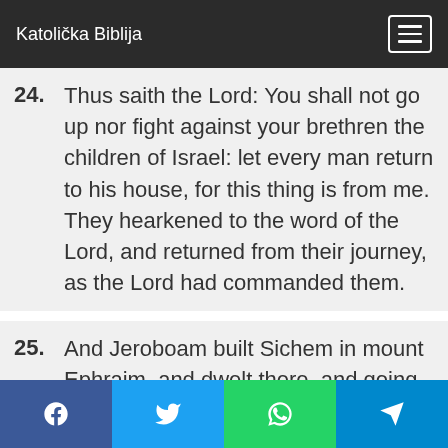Katolička Biblija
24. Thus saith the Lord: You shall not go up nor fight against your brethren the children of Israel: let every man return to his house, for this thing is from me. They hearkened to the word of the Lord, and returned from their journey, as the Lord had commanded them.
25. And Jeroboam built Sichem in mount Ephraim, and dwelt there, and going out from thence he built Phanuel.
26. And Jeroboam said in his heart: Now
f  🐦  WhatsApp  ✈